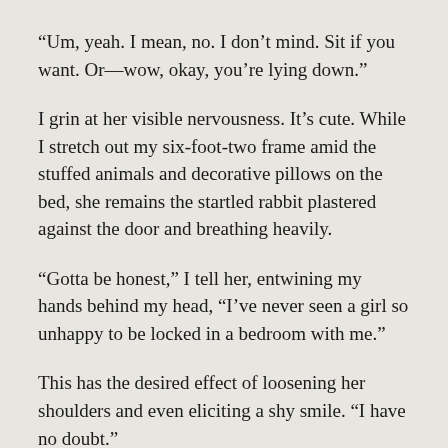“Um, yeah. I mean, no. I don’t mind. Sit if you want. Or—wow, okay, you’re lying down.”
I grin at her visible nervousness. It’s cute. While I stretch out my six-foot-two frame amid the stuffed animals and decorative pillows on the bed, she remains the startled rabbit plastered against the door and breathing heavily.
“Gotta be honest,” I tell her, entwining my hands behind my head, “I’ve never seen a girl so unhappy to be locked in a bedroom with me.”
This has the desired effect of loosening her shoulders and even eliciting a shy smile. “I have no doubt.”